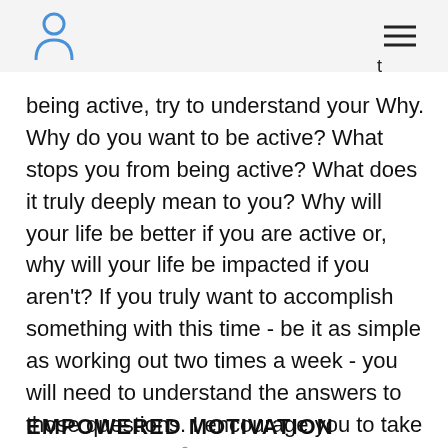[person icon] [menu icon] t
being active, try to understand your Why. Why do you want to be active? What stops you from being active? What does it truly deeply mean to you? Why will your life be better if you are active or, why will your life be impacted if you aren't? If you truly want to accomplish something with this time - be it as simple as working out two times a week - you will need to understand the answers to those questions. I encourage you to take a second and explore those questions surrounding your motivation.
EMPOWERED MOTIVATION